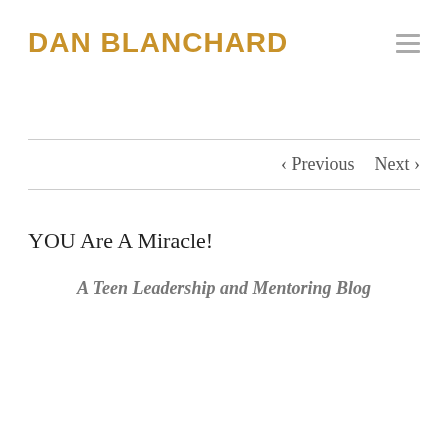DAN BLANCHARD
YOU Are A Miracle!
A Teen Leadership and Mentoring Blog